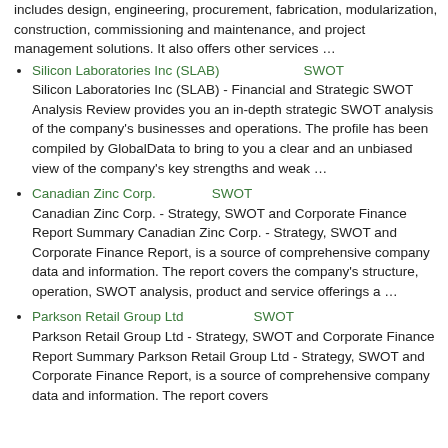includes design, engineering, procurement, fabrication, modularization, construction, commissioning and maintenance, and project management solutions. It also offers other services …
Silicon Laboratories Inc (SLAB)　　　　　　SWOT　　
Silicon Laboratories Inc (SLAB) - Financial and Strategic SWOT Analysis Review provides you an in-depth strategic SWOT analysis of the company's businesses and operations. The profile has been compiled by GlobalData to bring to you a clear and an unbiased view of the company's key strengths and weak …
Canadian Zinc Corp.　　　　SWOT　　　　　
Canadian Zinc Corp. - Strategy, SWOT and Corporate Finance Report Summary Canadian Zinc Corp. - Strategy, SWOT and Corporate Finance Report, is a source of comprehensive company data and information. The report covers the company's structure, operation, SWOT analysis, product and service offerings a …
Parkson Retail Group Ltd　　　　　SWOT　　　　
Parkson Retail Group Ltd - Strategy, SWOT and Corporate Finance Report Summary Parkson Retail Group Ltd - Strategy, SWOT and Corporate Finance Report, is a source of comprehensive company data and information. The report covers